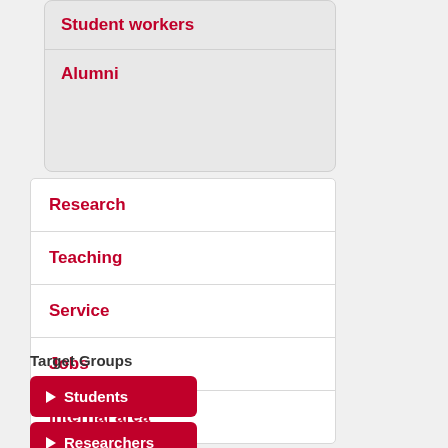Student workers
Alumni
Research
Teaching
Service
Jobs
Internal area
Target Groups
Students
Researchers